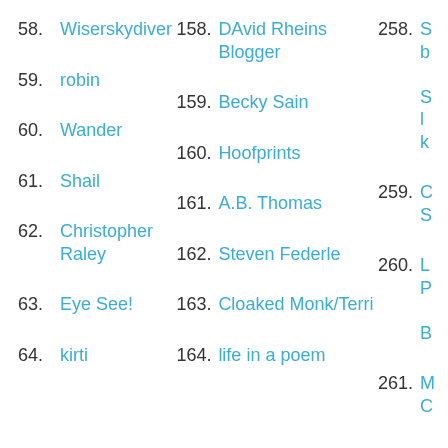58. Wiserskydiver
59. robin
60. Wander
61. Shail
62. Christopher Raley
63. Eye See!
64. kirti
158. DAvid Rheins Blogger
159. Becky Sain
160. Hoofprints
161. A.B. Thomas
162. Steven Federle
163. Cloaked Monk/Terri
164. life in a poem
258.
259.
260.
261.
262.
263.
264.